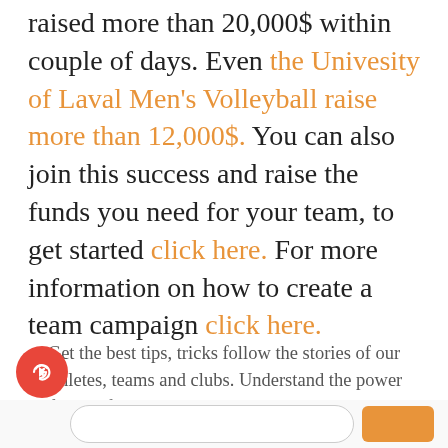raised more than 20,000$ within couple of days. Even the Univesity of Laval Men's Volleyball raise more than 12,000$. You can also join this success and raise the funds you need for your team, to get started click here. For more information on how to create a team campaign click here.
Get the best tips, tricks follow the stories of our athletes, teams and clubs. Understand the power of crowdfunding with the MAKEACHAMP blog. Our best articles, delivered straight to your inbox.